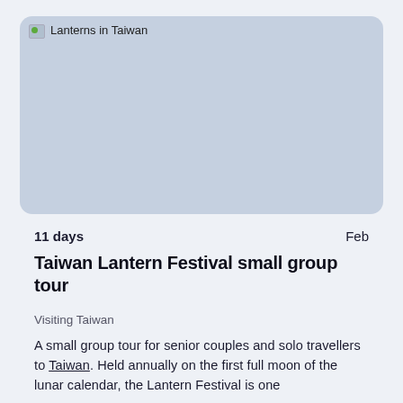[Figure (photo): Broken image placeholder for 'Lanterns in Taiwan' with light blue-grey background]
11 days
Feb
Taiwan Lantern Festival small group tour
Visiting Taiwan
A small group tour for senior couples and solo travellers to Taiwan. Held annually on the first full moon of the lunar calendar, the Lantern Festival is one